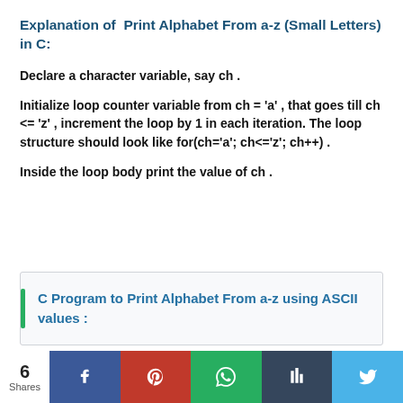Explanation of Print Alphabet From a-z (Small Letters) in C:
Declare a character variable, say ch .
Initialize loop counter variable from ch = 'a' , that goes till ch <= 'z' , increment the loop by 1 in each iteration. The loop structure should look like for(ch='a'; ch<='z'; ch++) .
Inside the loop body print the value of ch .
C Program to Print Alphabet From a-z using ASCII values :
6 Shares